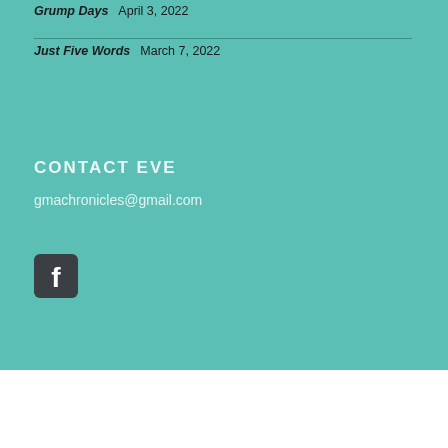Grump Days   April 3, 2022
Just Five Words   March 7, 2022
CONTACT EVE
gmachronicles@gmail.com
[Figure (logo): Facebook icon — rounded square with white 'f' on dark charcoal background]
© Copyright 2022 | THE G-MA CHRONICLES | Web Design & Development by Data Driven Design